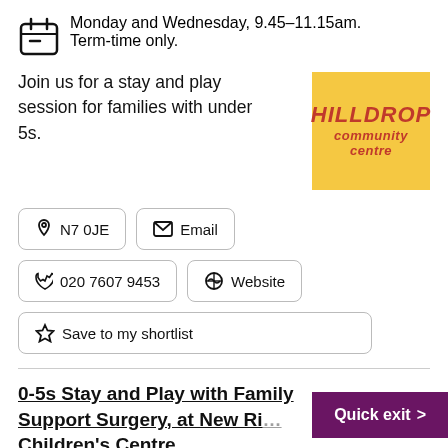Monday and Wednesday, 9.45–11.15am. Term-time only.
Join us for a stay and play session for families with under 5s.
[Figure (logo): Hilldrop Community Centre logo — yellow square background with red italic text reading HILLDROP community centre]
📍 N7 0JE
✉ Email
📞 020 7607 9453
🔗 Website
☆ Save to my shortlist
0-5s Stay and Play with Family Support Surgery, at New Ri... Children's Centre
Quick exit >